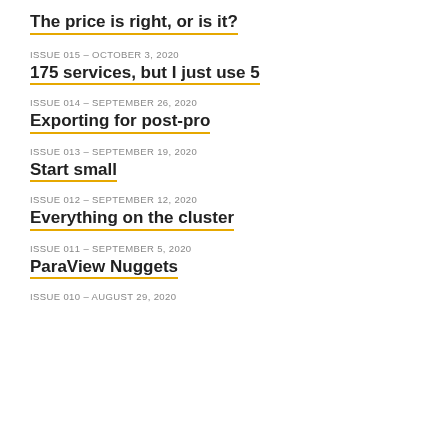The price is right, or is it?
ISSUE 015 – OCTOBER 3, 2020
175 services, but I just use 5
ISSUE 014 – SEPTEMBER 26, 2020
Exporting for post-pro
ISSUE 013 – SEPTEMBER 19, 2020
Start small
ISSUE 012 – SEPTEMBER 12, 2020
Everything on the cluster
ISSUE 011 – SEPTEMBER 5, 2020
ParaView Nuggets
ISSUE 010 – AUGUST 29, 2020